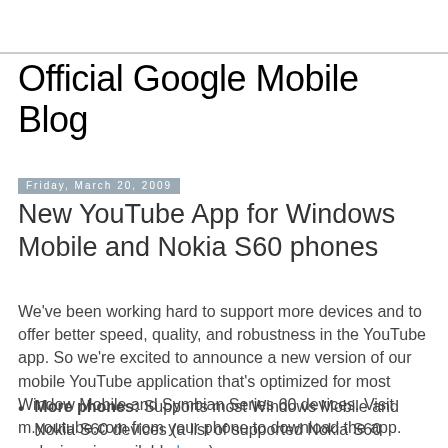Official Google Mobile Blog
Friday, March 20, 2009
New YouTube App for Windows Mobile and Nokia S60 phones
We've been working hard to support more devices and to offer better speed, quality, and robustness in the YouTube app. So we're excited to announce a new version of our mobile YouTube application that's optimized for most Window Mobile and Symbian Series 60 devices. Visit m.youtube.com from your phone to download the app.
More phones: Supports most Windows Mobile and Nokia S60 devices (a list of supported Nokia S60 devices is available here).
Speed: Faster application start-up, searching, and video loading. For even quicker access, add